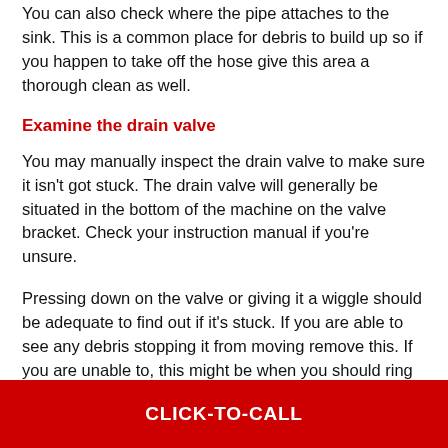You can also check where the pipe attaches to the sink. This is a common place for debris to build up so if you happen to take off the hose give this area a thorough clean as well.
Examine the drain valve
You may manually inspect the drain valve to make sure it isn't got stuck. The drain valve will generally be situated in the bottom of the machine on the valve bracket. Check your instruction manual if you're unsure.
Pressing down on the valve or giving it a wiggle should be adequate to find out if it's stuck. If you are able to see any debris stopping it from moving remove this. If you are unable to, this might be when you should ring a plumber unless you are
CLICK-TO-CALL